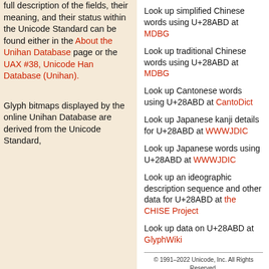full description of the fields, their meaning, and their status within the Unicode Standard can be found either in the About the Unihan Database page or the UAX #38, Unicode Han Database (Unihan).
Glyph bitmaps displayed by the online Unihan Database are derived from the Unicode Standard,
Look up simplified Chinese words using U+28ABD at MDBG
Look up traditional Chinese words using U+28ABD at MDBG
Look up Cantonese words using U+28ABD at CantoDict
Look up Japanese kanji details for U+28ABD at WWWJDIC
Look up Japanese words using U+28ABD at WWWJDIC
Look up an ideographic description sequence and other data for U+28ABD at the CHISE Project
Look up data on U+28ABD at GlyphWiki
© 1991–2022 Unicode, Inc. All Rights Reserved. Unicode and the Unicode Logo are registered trademarks of Unicode, Inc. in the United States and other countries. Terms of Use